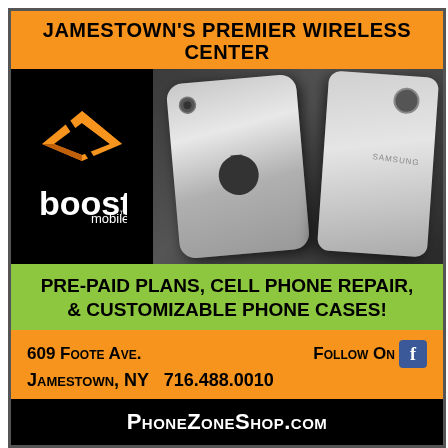JAMESTOWN'S PREMIER WIRELESS CENTER
[Figure (photo): Boost Mobile logo on black background alongside photo of iPhone and Samsung Galaxy smartphones from behind]
PRE-PAID PLANS, CELL PHONE REPAIR, & CUSTOMIZABLE PHONE CASES!
609 Foote Ave.   Follow On [Facebook]   Jamestown, NY  716.488.0010
PhoneZoneShop.com